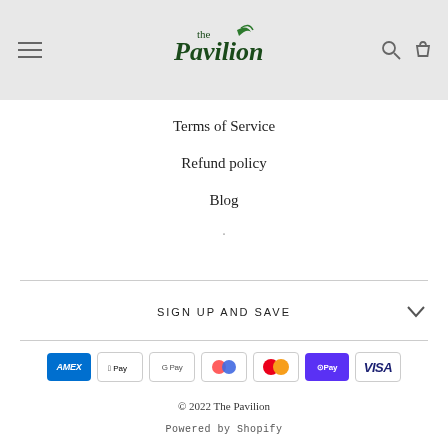[Figure (logo): The Pavilion logo with leaf motif in dark green]
Terms of Service
Refund policy
Blog
.
SIGN UP AND SAVE
[Figure (other): Payment method icons: American Express, Apple Pay, Google Pay, PayPal, Mastercard, Shop Pay, Visa]
© 2022 The Pavilion
Powered by Shopify